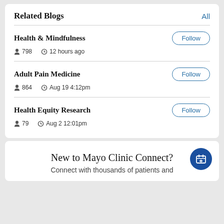Related Blogs
All
Health & Mindfulness
Follow
798   12 hours ago
Adult Pain Medicine
Follow
864   Aug 19 4:12pm
Health Equity Research
Follow
79   Aug 2 12:01pm
New to Mayo Clinic Connect?
Connect with thousands of patients and